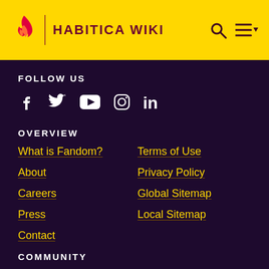HABITICA WIKI
FOLLOW US
[Figure (infographic): Social media icons: Facebook, Twitter, YouTube, Instagram, LinkedIn]
OVERVIEW
What is Fandom?
Terms of Use
About
Privacy Policy
Careers
Global Sitemap
Press
Local Sitemap
Contact
COMMUNITY